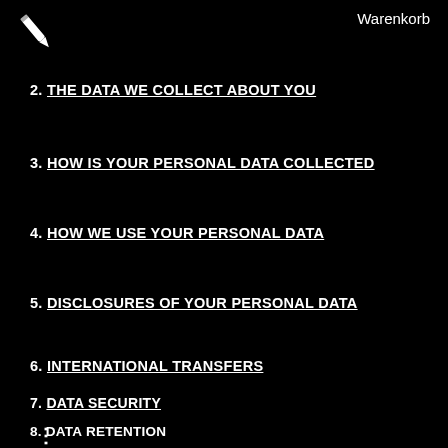[Figure (logo): Pencil/pen icon logo in white on black background]
Warenkorb
2. THE DATA WE COLLECT ABOUT YOU
3. HOW IS YOUR PERSONAL DATA COLLECTED
4. HOW WE USE YOUR PERSONAL DATA
5. DISCLOSURES OF YOUR PERSONAL DATA
6. INTERNATIONAL TRANSFERS
7. DATA SECURITY
8. DATA RETENTION
⋮